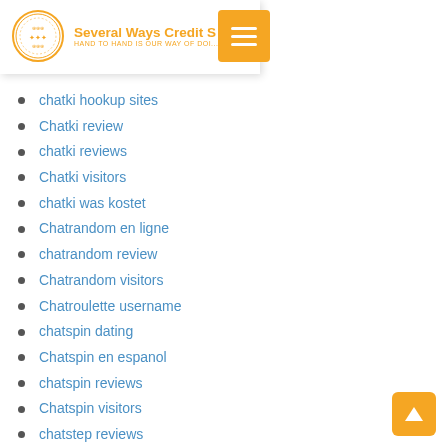Several Ways Credit S — HAND TO HAND IS OUR WAY OF DOI...
chatki hookup sites
Chatki review
chatki reviews
Chatki visitors
chatki was kostet
Chatrandom en ligne
chatrandom review
Chatrandom visitors
Chatroulette username
chatspin dating
Chatspin en espanol
chatspin reviews
Chatspin visitors
chatstep reviews
chatstep sign in
Chaturbate Site
Chaturbate Webcam Chat Room
Cheap Custom Writing Service
cheap installment loans